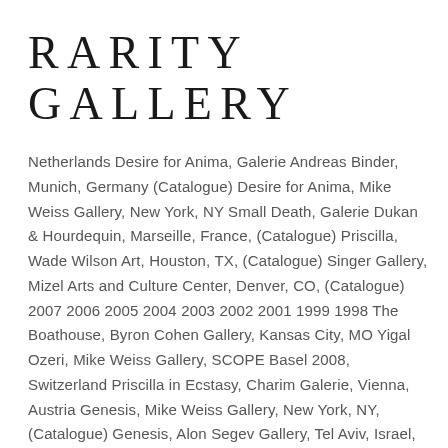RARITY GALLERY
Netherlands Desire for Anima, Galerie Andreas Binder, Munich, Germany (Catalogue) Desire for Anima, Mike Weiss Gallery, New York, NY Small Death, Galerie Dukan & Hourdequin, Marseille, France, (Catalogue) Priscilla, Wade Wilson Art, Houston, TX, (Catalogue) Singer Gallery, Mizel Arts and Culture Center, Denver, CO, (Catalogue) 2007 2006 2005 2004 2003 2002 2001 1999 1998 The Boathouse, Byron Cohen Gallery, Kansas City, MO Yigal Ozeri, Mike Weiss Gallery, SCOPE Basel 2008, Switzerland Priscilla in Ecstasy, Charim Galerie, Vienna, Austria Genesis, Mike Weiss Gallery, New York, NY, (Catalogue) Genesis, Alon Segev Gallery, Tel Aviv, Israel, (Catalogue) Priscilla in the Cloud Forest, Mike Weiss Gallery, SCOPE Basel 2007, Switzerland The Montfort, New Gallery, The Archie Houston, TX, In Ecstasy, New...